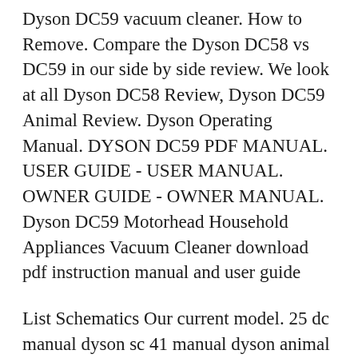Dyson DC59 vacuum cleaner. How to Remove. Compare the Dyson DC58 vs DC59 in our side by side review. We look at all Dyson DC58 Review, Dyson DC59 Animal Review. Dyson Operating Manual. DYSON DC59 PDF MANUAL. USER GUIDE - USER MANUAL. OWNER GUIDE - OWNER MANUAL. Dyson DC59 Motorhead Household Appliances Vacuum Cleaner download pdf instruction manual and user guide
List Schematics Our current model. 25 dc manual dyson sc 41 manual dyson animal pdf dyson manuals for dc 40 owners manual dyson dc 59 user manual dyson dc23 manual pdf dyson dc35. First Look: Dyson Digital Slim DC59 Motorhead Vacuum - GeekBeat Tips & Reviews.